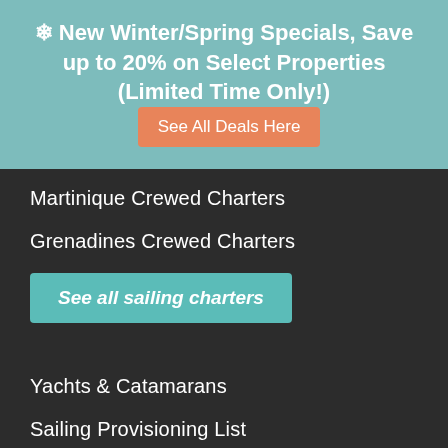❄ New Winter/Spring Specials, Save up to 20% on Select Properties (Limited Time Only!) See All Deals Here
Martinique Crewed Charters
Grenadines Crewed Charters
See all sailing charters
Yachts & Catamarans
Sailing Provisioning List
Helpful Charter Info
Popular Activities
Day-Sail Tours
Snorkeling